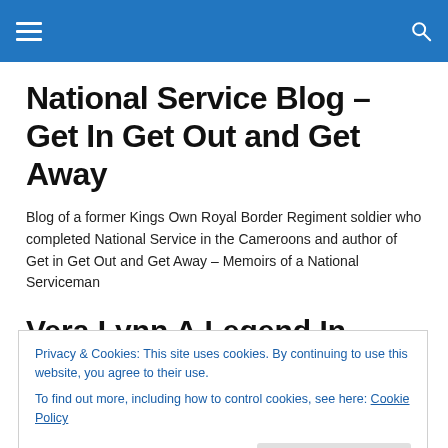National Service Blog – Get In Get Out and Get Away
Blog of a former Kings Own Royal Border Regiment soldier who completed National Service in the Cameroons and author of Get in Get Out and Get Away – Memoirs of a National Serviceman
Vera Lynn A Legend In Troop
Privacy & Cookies: This site uses cookies. By continuing to use this website, you agree to their use.
To find out more, including how to control cookies, see here: Cookie Policy